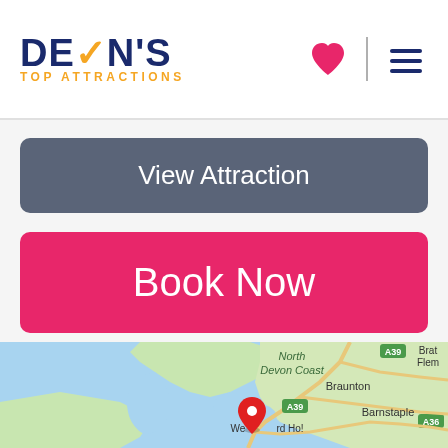[Figure (logo): Devon's Top Attractions logo with blue text, orange checkmark, and orange subtitle]
[Figure (other): Pink heart icon and hamburger menu icon in header]
View Attraction
Book Now
[Figure (map): Google Maps view of North Devon Coast area showing Braunton, Barnstaple, Westward Ho! with a red location pin and roads A39, A36]